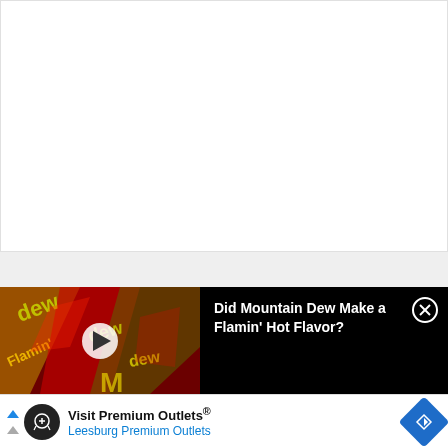[Figure (screenshot): White content area placeholder, upper portion of a webpage]
[Figure (screenshot): Light gray bar separator between white area and video panel]
[Figure (photo): Video thumbnail showing Mountain Dew Flamin' Hot cans with red and yellow packaging with play button overlay]
Did Mountain Dew Make a Flamin’ Hot Flavor?
[Figure (infographic): Advertisement banner: Visit Premium Outlets® / Leesburg Premium Outlets with logo and navigation icon]